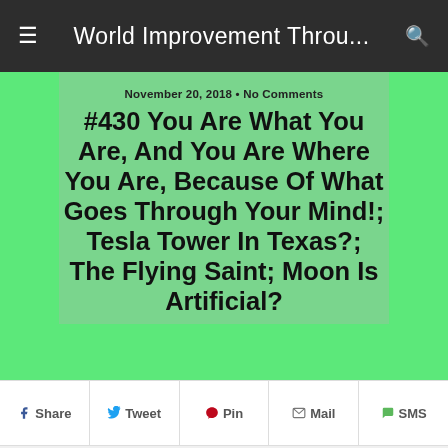World Improvement Throu...
November 20, 2018 • No Comments
#430 You Are What You Are, And You Are Where You Are, Because Of What Goes Through Your Mind!; Tesla Tower In Texas?; The Flying Saint; Moon Is Artificial?
Share  Tweet  Pin  Mail  SMS
Miss the summary? Send us one after you watch it 🙂 (you